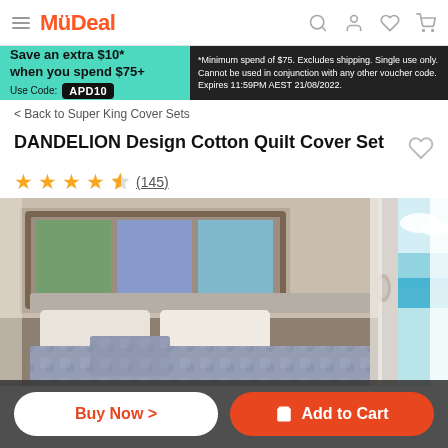MyDeal
Save an extra $10* when you spend $75+ Use Code: APD10 | *Minimum spend of $75. Excludes shipping. Single use only. Cannot be used in conjunction with any other voucher code. Expires 11:59PM AEST 21/08/2022.
< Back to Super King Cover Sets
DANDELION Design Cotton Quilt Cover Set
★★★★½ (145)
[Figure (photo): Bedroom scene with a bed with blue/grey patterned quilt, framed artwork on wall, white curtains, and ocean view through window.]
Buy Now > | Add to Cart